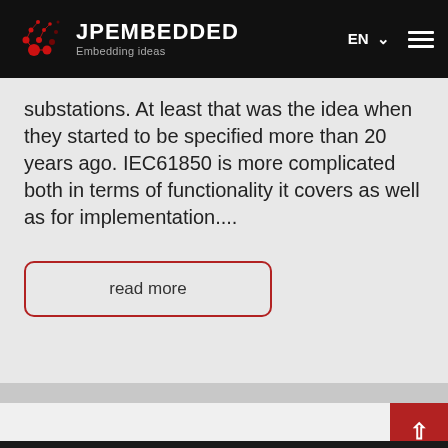JPEMBEDDED Embedding ideas
substations. At least that was the idea when they started to be specified more than 20 years ago. IEC61850 is more complicated both in terms of functionality it covers as well as for implementation....
read more
This site uses Cookies files for proper operation.
Wiecej